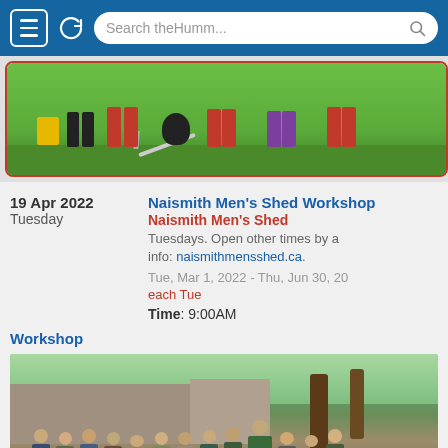[Figure (screenshot): Mobile browser navigation bar with hamburger menu, refresh button, and search field showing 'Search theHumm...']
[Figure (illustration): Banner image showing illustrated people doing outdoor activities on grass, partially visible. Framed with red/orange border.]
19 Apr 2022
Tuesday
Naismith Men's Shed Workshop
Naismith Men's Shed
Tuesdays. Open other times by a... info: naismithmensshed.ca.
Tue, Mar 1, 2022 - Thu, Jun 30, 20...
each Tue
Time: 9:00AM
Workshop
[Figure (photo): Group photo of approximately 20 men standing outdoors in front of trees and a building, with a dog in the foreground. Some wearing Canada-branded jackets.]